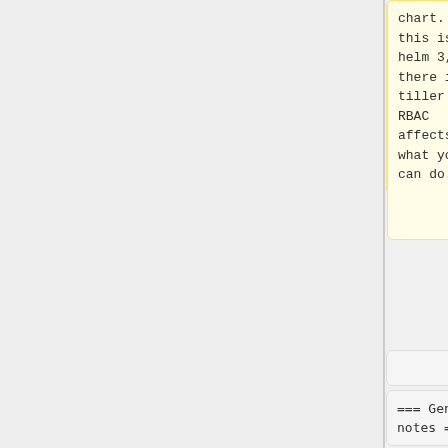chart. As this is helm 3, there is no tiller and RBAC affects what you can do.
RBAC affects what you can do.
=== General notes ===
=== General notes ===
Line 71:
Line 71:
</syntaxhighlight>
</syntaxhighlight>
If you are
If you are